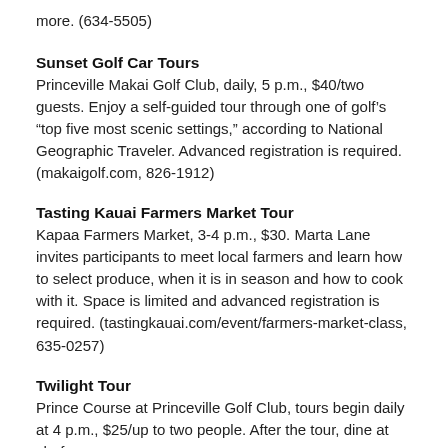more. (634-5505)
Sunset Golf Car Tours
Princeville Makai Golf Club, daily, 5 p.m., $40/two guests. Enjoy a self-guided tour through one of golfâ€™s “top five most scenic settings,” according to National Geographic Traveler. Advanced registration is required. (makaigolf.com, 826-1912)
Tasting Kauai Farmers Market Tour
Kapaa Farmers Market, 3-4 p.m., $30. Marta Lane invites participants to meet local farmers and learn how to select produce, when it is in season and how to cook with it. Space is limited and advanced registration is required. (tastingkauai.com/event/farmers-market-class, 635-0257)
Twilight Tour
Prince Course at Princeville Golf Club, tours begin daily at 4 p.m., $25/up to two people. After the tour, dine at chef